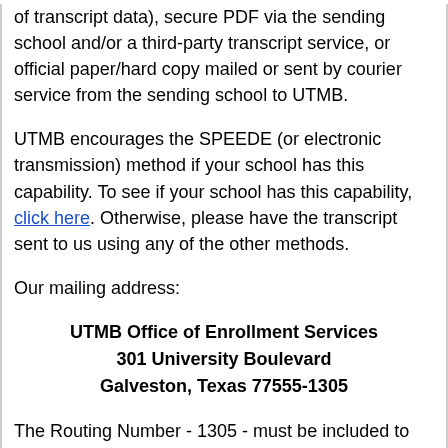of transcript data), secure PDF via the sending school and/or a third-party transcript service, or official paper/hard copy mailed or sent by courier service from the sending school to UTMB.
UTMB encourages the SPEEDE (or electronic transmission) method if your school has this capability. To see if your school has this capability, click here. Otherwise, please have the transcript sent to us using any of the other methods.
Our mailing address:
UTMB Office of Enrollment Services
301 University Boulevard
Galveston, Texas 77555-1305
The Routing Number - 1305 - must be included to assure that the UTMB Mail Services Department is able to direct your transcript appropriately. We